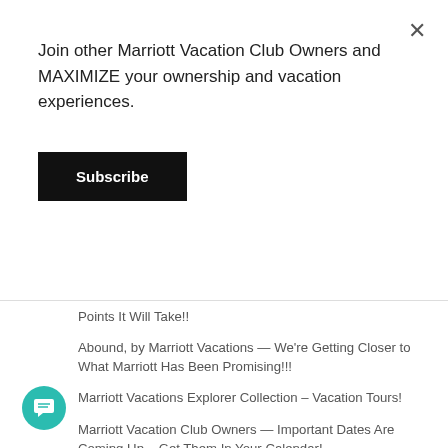Join other Marriott Vacation Club Owners and MAXIMIZE your ownership and vacation experiences.
Subscribe
Points It Will Take!!
Abound, by Marriott Vacations — We're Getting Closer to What Marriott Has Been Promising!!!
Marriott Vacations Explorer Collection – Vacation Tours!
Marriott Vacation Club Owners — Important Dates Are Coming Up – Get Them In Your Calendar!
3 Recent Comments
Shanna on Abound, by Marriott Vacations – What Happens Now?